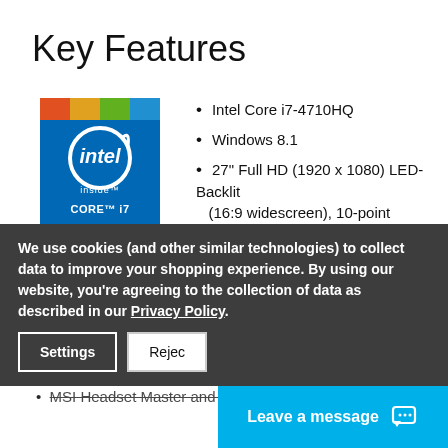Key Features
[Figure (logo): Intel Inside Core i7 processor logo badge — blue background with gold/colorful top, white Intel swirl logo, text 'intel inside CORE i7']
Intel Core i7-4710HQ
Windows 8.1
27" Full HD (1920 x 1080) LED-Backlit (16:9 widescreen), 10-point Touchscreen
NVIDIA GeForce GTX 970M w/ 6GB GDDR5 VRAM
12GB DDR3L 1600MHz
128GB mSATA SSD + 1TB HDD 7200RPM
MSI Headset Master and Instant Display Technology
We use cookies (and other similar technologies) to collect data to improve your shopping experience. By using our website, you're agreeing to the collection of data as described in our Privacy Policy.
Settings | Reject | Leave a message